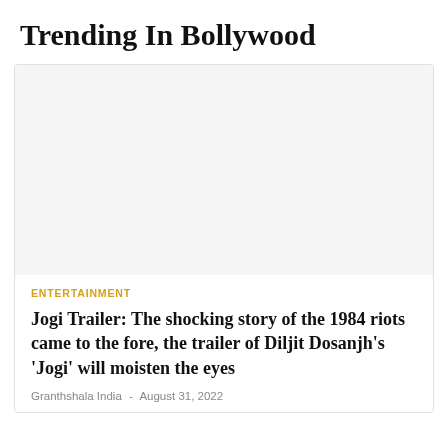Trending In Bollywood
[Figure (photo): Blank placeholder image area for article thumbnail]
ENTERTAINMENT
Jogi Trailer: The shocking story of the 1984 riots came to the fore, the trailer of Diljit Dosanjh's 'Jogi' will moisten the eyes
Granthshala India - August 31, 2022